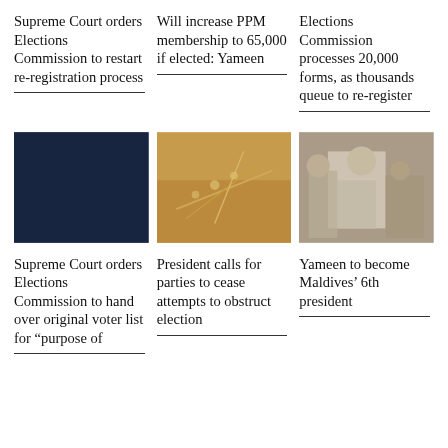Supreme Court orders Elections Commission to restart re-registration process
Will increase PPM membership to 65,000 if elected: Yameen
Elections Commission processes 20,000 forms, as thousands queue to re-register
[Figure (photo): Dark navy/blue solid color placeholder image]
[Figure (photo): Close-up photo of golden/yellow plant branches or flowers with blurred background]
[Figure (photo): Photo of a man in a white shirt greeting or interacting with a crowd of people]
Supreme Court orders Elections Commission to hand over original voter list for “purpose of
President calls for parties to cease attempts to obstruct election
Yameen to become Maldives’ 6th president